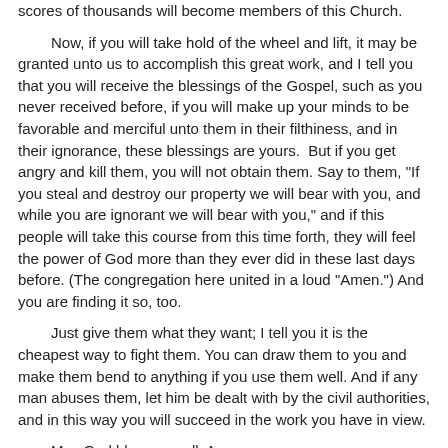scores of thousands will become members of this Church.
Now, if you will take hold of the wheel and lift, it may be granted unto us to accomplish this great work, and I tell you that you will receive the blessings of the Gospel, such as you never received before, if you will make up your minds to be favorable and merciful unto them in their filthiness, and in their ignorance, these blessings are yours.  But if you get angry and kill them, you will not obtain them. Say to them, "If you steal and destroy our property we will bear with you, and while you are ignorant we will bear with you," and if this people will take this course from this time forth, they will feel the power of God more than they ever did in these last days before. (The congregation here united in a loud "Amen.") And you are finding it so, too.
Just give them what they want; I tell you it is the cheapest way to fight them. You can draw them to you and make them bend to anything if you use them well. And if any man abuses them, let him be dealt with by the civil authorities, and in this way you will succeed in the work you have in view.
May God bless you all. Amen.
- Wilford Woodruff